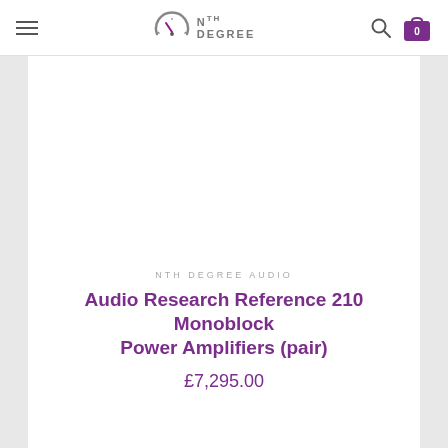NTH DEGREE logo navigation bar with hamburger menu, search icon, and cart
[Figure (photo): Product image placeholder — white/blank area for Audio Research Reference 210 Monoblock Power Amplifiers]
NTH DEGREE AUDIO
Audio Research Reference 210 Monoblock Power Amplifiers (pair)
£7,295.00